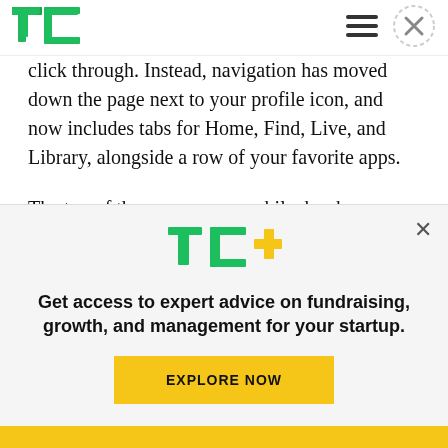TechCrunch logo, hamburger menu, close button
click through. Instead, navigation has moved down the page next to your profile icon, and now includes tabs for Home, Find, Live, and Library, alongside a row of your favorite apps.
The top of the screen, meanwhile, has been freed up to better display a large advertisement for Amazon's own content or those from other
[Figure (logo): TC+ logo with green TC letters and yellow plus sign]
Get access to expert advice on fundraising, growth, and management for your startup.
EXPLORE NOW